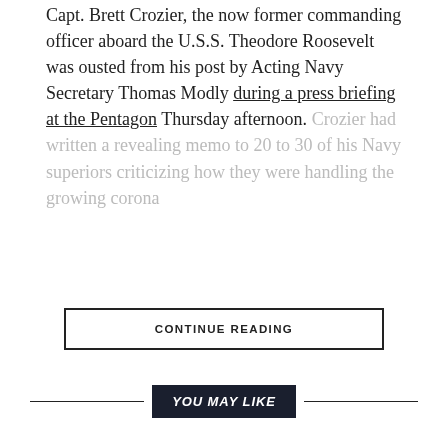Capt. Brett Crozier, the now former commanding officer aboard the U.S.S. Theodore Roosevelt was ousted from his post by Acting Navy Secretary Thomas Modly during a press briefing at the Pentagon Thursday afternoon. Crozier had written a revealing memo to 20 to 30 of his Navy superiors criticizing how they were handling the growing corona...
CONTINUE READING
YOU MAY LIKE
CLICK TO COMMENT
UNCATEGORIZED
Federal judge rules Cuccinelli appointment unlawful